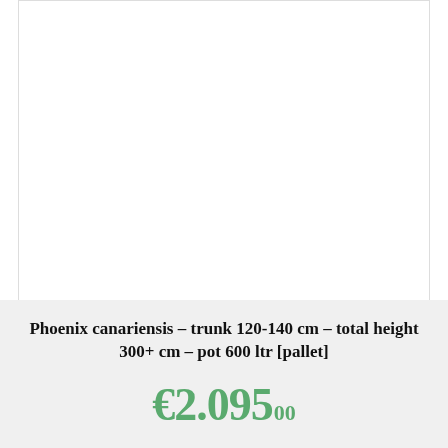[Figure (photo): Product photo area (white/blank) for Phoenix canariensis palm tree]
Phoenix canariensis - trunk 120-140 cm - total height 300+ cm - pot 600 ltr [pallet]
€2.095,00